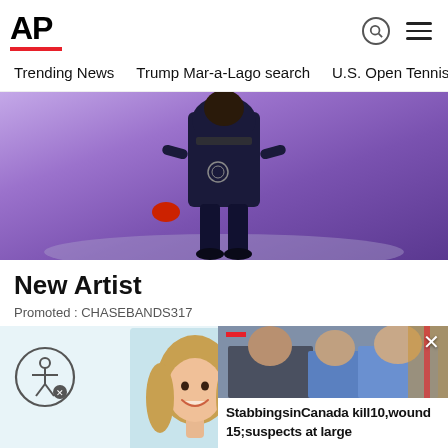AP
Trending News   Trump Mar-a-Lago search   U.S. Open Tennis
[Figure (photo): Person wearing dark hoodie with logos, standing against purple sky background]
New Artist
Promoted : CHASEBANDS317
[Figure (photo): Accessibility icon (person with arms out in circle), smiling young woman with long hair, and overlaid news card showing two men's faces with headline 'Stabbings in Canada kill 10, wound 15; suspects at large']
StabbingsinCanada kill10,wound 15;suspects at large